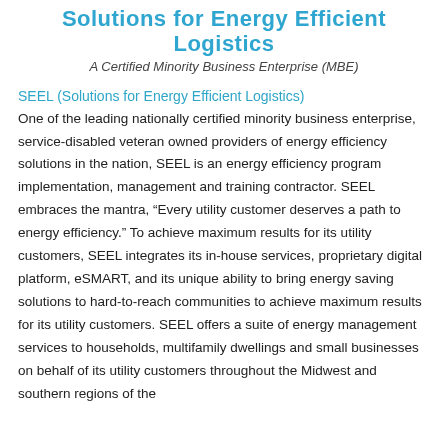Solutions for Energy Efficient Logistics
A Certified Minority Business Enterprise (MBE)
SEEL (Solutions for Energy Efficient Logistics)
One of the leading nationally certified minority business enterprise, service-disabled veteran owned providers of energy efficiency solutions in the nation, SEEL is an energy efficiency program implementation, management and training contractor. SEEL embraces the mantra, “Every utility customer deserves a path to energy efficiency.” To achieve maximum results for its utility customers, SEEL integrates its in-house services, proprietary digital platform, eSMART, and its unique ability to bring energy saving solutions to hard-to-reach communities to achieve maximum results for its utility customers. SEEL offers a suite of energy management services to households, multifamily dwellings and small businesses on behalf of its utility customers throughout the Midwest and southern regions of the